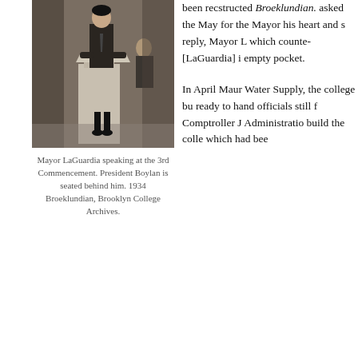[Figure (photo): Black and white photograph of Mayor LaGuardia speaking at a podium at the 3rd Commencement, with President Boylan seated behind him. 1934.]
Mayor LaGuardia speaking at the 3rd Commencement. President Boylan is seated behind him. 1934 Broeklundian, Brooklyn College Archives.
been recstructed Broeklundian. asked the Mayor for the Mayor his heart and s reply, Mayor L which counted [LaGuardia] i empty pocket.
In April Maur Water Supply, the college bu ready to hand officials still f Comptroller J Administratio build the colle which had bee